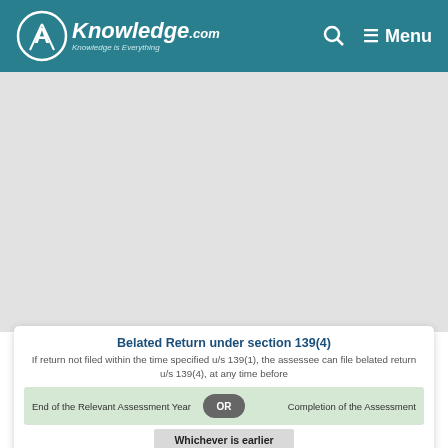CAknowledge.com — Knowledge is Everything | Menu
[Figure (screenshot): Gray background content area placeholder]
Belated Return under section 139(4)
If return not filed within the time specified u/s 139(1), the assessee can file belated return u/s 139(4), at any time before
End of the Relevant Assessment Year  OR  Completion of the Assessment
Whichever is earlier
Revised Return under Section 139(5)